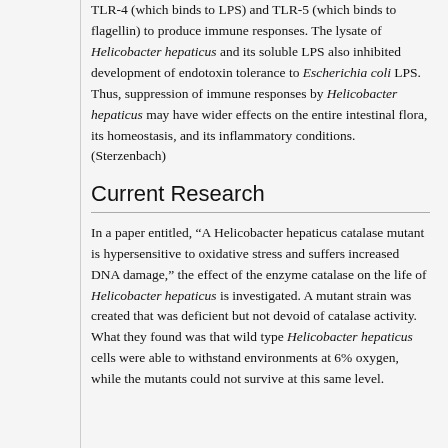TLR-4 (which binds to LPS) and TLR-5 (which binds to flagellin) to produce immune responses. The lysate of Helicobacter hepaticus and its soluble LPS also inhibited development of endotoxin tolerance to Escherichia coli LPS. Thus, suppression of immune responses by Helicobacter hepaticus may have wider effects on the entire intestinal flora, its homeostasis, and its inflammatory conditions. (Sterzenbach)
Current Research
In a paper entitled, “A Helicobacter hepaticus catalase mutant is hypersensitive to oxidative stress and suffers increased DNA damage,” the effect of the enzyme catalase on the life of Helicobacter hepaticus is investigated. A mutant strain was created that was deficient but not devoid of catalase activity. What they found was that wild type Helicobacter hepaticus cells were able to withstand environments at 6% oxygen, while the mutants could not survive at this same level.